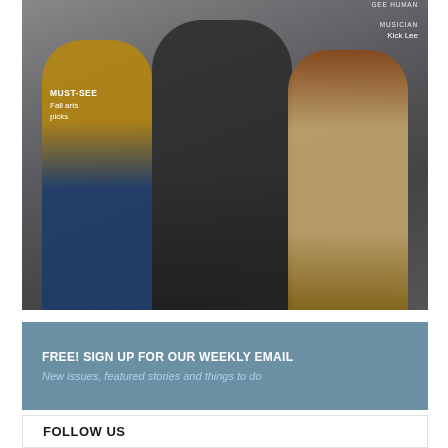[Figure (photo): Magazine cover photo showing three men posed together against a grey background. Left man wears yellow/mustard top with dark jeans. Center man wears black t-shirt with gold chain necklace and ripped black jeans, seated on a stool. Right man wears khaki pants and brown shirt. Overlaid text reads: 'MUST-SEE Fall arts picks' on the left, and 'MUSICIAN Kick Lee' on the upper right. Also partially visible at top right: 'Gee Human'.]
FREE! SIGN UP FOR OUR WEEKLY EMAIL
New issues, featured stories and things to do
FOLLOW US